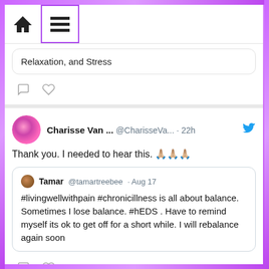[Figure (screenshot): Twitter/social media feed screenshot with purple glitter border. Shows navigation bar with home and menu icons, partial tweet with 'Relaxation, and Stress' text, a tweet by Charisse Van... @CharisseVa... 22h saying 'Thank you. I needed to hear this.' with praying hands emojis, quoting Tamar @tamartreebee Aug 17 about #livingwellwithpain #chronicillness balance and #hEDS, and a retweet section showing 'Charisse Van Horn Retweeted' and Leslie Alatorre @lesliiealatorre Aug 18 with Twitter bird icon.]